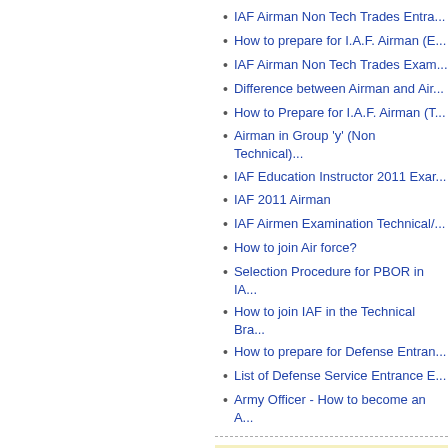IAF Airman Non Tech Trades Entra...
How to prepare for I.A.F. Airman (E...
IAF Airman Non Tech Trades Exam...
Difference between Airman and Air...
How to Prepare for I.A.F. Airman (T...
Airman in Group 'y' (Non Technical)...
IAF Education Instructor 2011 Exar...
IAF 2011 Airman
IAF Airmen Examination Technical/...
How to join Air force?
Selection Procedure for PBOR in IA...
How to join IAF in the Technical Bra...
How to prepare for Defense Entran...
List of Defense Service Entrance E...
Army Officer - How to become an A...
Do you have any question? Pl...
Questions will be answered on our Forum section
Name (required)
Mail (will not be p...